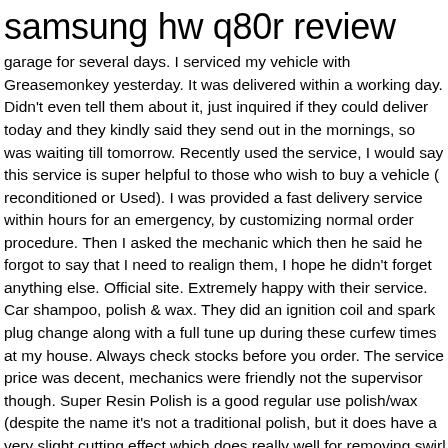samsung hw q80r review
garage for several days. I serviced my vehicle with Greasemonkey yesterday. It was delivered within a working day. Didn't even tell them about it, just inquired if they could deliver today and they kindly said they send out in the mornings, so was waiting till tomorrow. Recently used the service, I would say this service is super helpful to those who wish to buy a vehicle ( reconditioned or Used). I was provided a fast delivery service within hours for an emergency, by customizing normal order procedure. Then I asked the mechanic which then he said he forgot to say that I need to realign them, I hope he didn't forget anything else. Official site. Extremely happy with their service. Car shampoo, polish & wax. They did an ignition coil and spark plug change along with a full tune up during these curfew times at my house. Always check stocks before you order. The service price was decent, mechanics were friendly not the supervisor though. Super Resin Polish is a good regular use polish/wax (despite the name it's not a traditional polish, but it does have a very slight cutting effect which does really well for removing swirl marks etc. J.F.Packaging Sri Lanka. The technician arrived the location on time and gave his comments about the car after a good check up on the vehicle. *Recommending to others for products on this nature. They